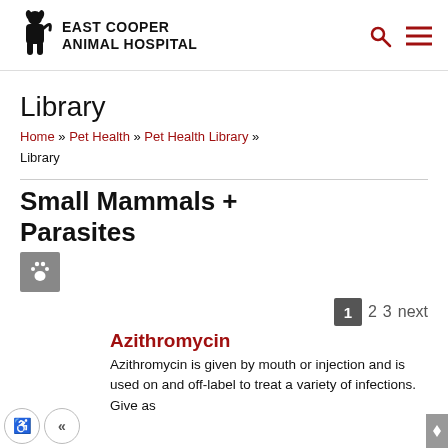EAST COOPER ANIMAL HOSPITAL
Library
Home » Pet Health » Pet Health Library » Library
Small Mammals + Parasites
1  2  3  next
Azithromycin
Azithromycin is given by mouth or injection and is used on and off-label to treat a variety of infections. Give as